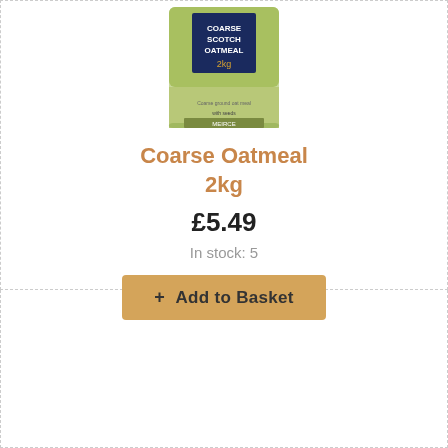[Figure (photo): Product photo of Coarse Scotch Oatmeal 2kg bag with green and white packaging]
Coarse Oatmeal 2kg
£5.49
In stock: 5
+ Add to Basket